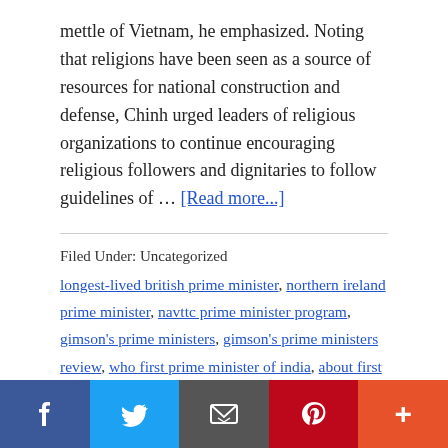mettle of Vietnam, he emphasized. Noting that religions have been seen as a source of resources for national construction and defense, Chinh urged leaders of religious organizations to continue encouraging religious followers and dignitaries to follow guidelines of … [Read more...]
Filed Under: Uncategorized
longest-lived british prime minister, northern ireland prime minister, navttc prime minister program, gimson's prime ministers, gimson's prime ministers review, who first prime minister of india, about first prime minister of india, fiji first prime minister, fiji's
[Figure (infographic): Social media sharing bar with Facebook, Twitter, Email, Pinterest, and More buttons]